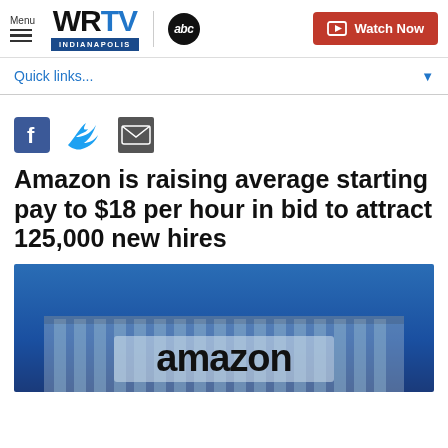WRTV ABC Indianapolis — Menu | Watch Now
Quick links...
Amazon is raising average starting pay to $18 per hour in bid to attract 125,000 new hires
[Figure (photo): Amazon building exterior with large Amazon logo sign against a blue sky]